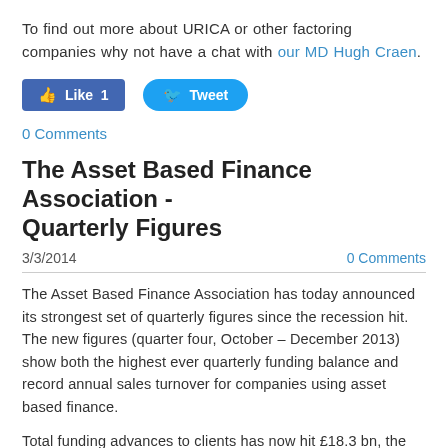To find out more about URICA or other factoring companies why not have a chat with our MD Hugh Craen.
[Figure (other): Social media buttons: Facebook Like (1) and Twitter Tweet]
0 Comments
The Asset Based Finance Association - Quarterly Figures
3/3/2014
0 Comments
The Asset Based Finance Association has today announced its strongest set of quarterly figures since the recession hit. The new figures (quarter four, October – December 2013) show both the highest ever quarterly funding balance and record annual sales turnover for companies using asset based finance.
Total funding advances to clients has now hit £18.3 bn, the highest quarterly balance ever. In December 2009 this balance was £13.9 bn,